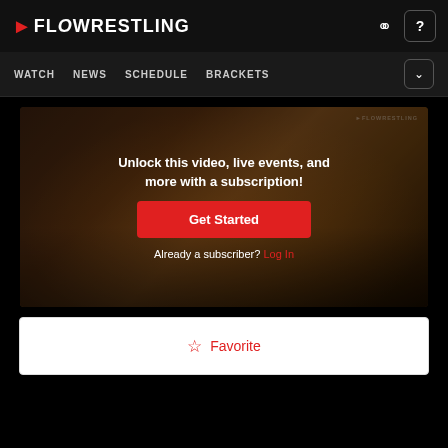FLOWRESTLING — WATCH | NEWS | SCHEDULE | BRACKETS
[Figure (screenshot): Flowrestling video paywall overlay on a blurred wrestling match background. Shows 'Unlock this video, live events, and more with a subscription!' with a red Get Started button and 'Already a subscriber? Log In' link.]
Unlock this video, live events, and more with a subscription!
Get Started
Already a subscriber? Log In
☆ Favorite